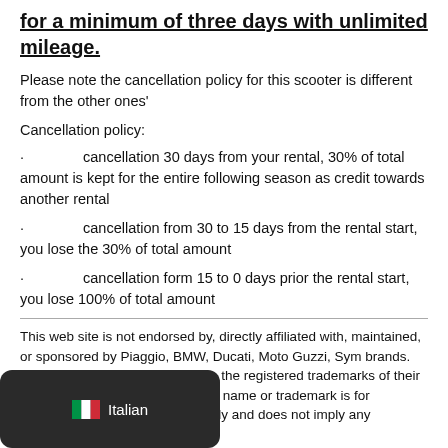for a minimum of three days with unlimited mileage.
Please note the cancellation policy for this scooter is different from the other ones'
Cancellation policy:
cancellation 30 days from your rental, 30% of total amount is kept for the entire following season as credit towards another rental
cancellation from 30 to 15 days from the rental start, you lose the 30% of total amount
cancellation form 15 to 0 days prior the rental start, you lose 100% of total amount
This web site is not endorsed by, directly affiliated with, maintained, or sponsored by Piaggio, BMW, Ducati, Moto Guzzi, Sym brands. All product and company names are the registered trademarks of their original owners. The use of any trade name or trademark is for identification and reference purposes only and does not imply any